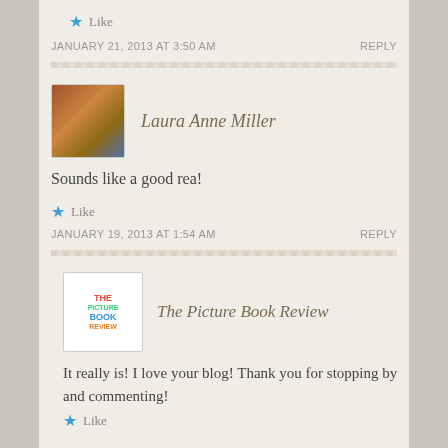Like
JANUARY 21, 2013 AT 3:50 AM
REPLY
Laura Anne Miller
Sounds like a good rea!
Like
JANUARY 19, 2013 AT 1:54 AM
REPLY
The Picture Book Review
It really is! I love your blog! Thank you for stopping by and commenting!
Like